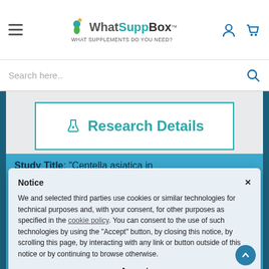WhatSuppBox — WHAT SUPPLEMENTS DO YOU NEED?
Research Details
Study Title: "Centella asiatica in cosmetology"
Number of Participants: Systematic atic
Review of 4 Studies with 240 Patients
Length of Study: 2-30 Months
Type of Study: Systematic Review
Publication: Postepy Dermatol Alergol
Notice
We and selected third parties use cookies or similar technologies for technical purposes and, with your consent, for other purposes as specified in the cookie policy. You can consent to the use of such technologies by using the "Accept" button, by closing this notice, by scrolling this page, by interacting with any link or button outside of this notice or by continuing to browse otherwise.
Accept